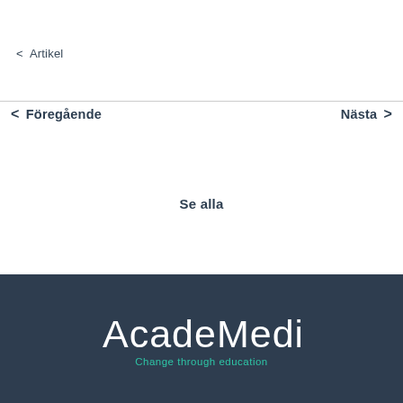< Artikel
< Föregående
Nästa >
Se alla
[Figure (logo): AcadeMedia logo with text 'Change through education' on dark background]